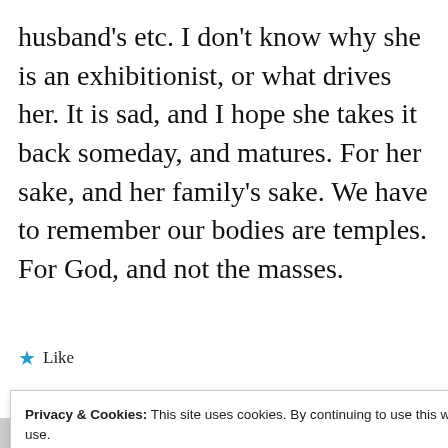husband's etc. I don't know why she is an exhibitionist, or what drives her. It is sad, and I hope she takes it back someday, and matures. For her sake, and her family's sake. We have to remember our bodies are temples. For God, and not the masses.
★ Like
Privacy & Cookies: This site uses cookies. By continuing to use this website, you agree to their use.
To find out more, including how to control cookies, see here:
Cookie Policy
Close and accept